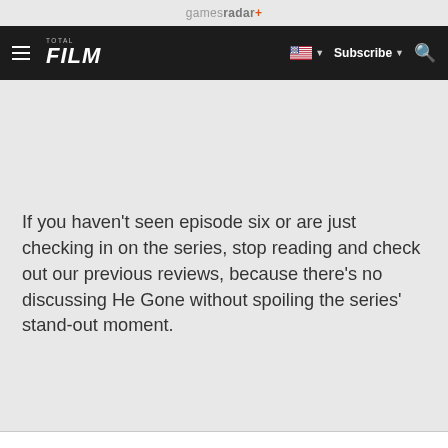gamesradar+
TOTAL FILM | Subscribe | Search
If you haven’t seen episode six or are just checking in on the series, stop reading and check out our previous reviews, because there’s no discussing He Gone without spoiling the series’ stand-out moment.